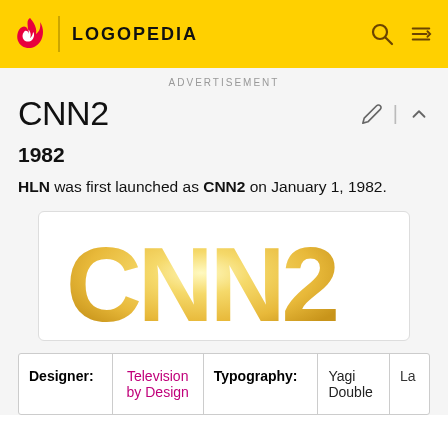LOGOPEDIA
ADVERTISEMENT
CNN2
1982
HLN was first launched as CNN2 on January 1, 1982.
[Figure (logo): CNN2 logo in golden/yellow gradient lettering on white background]
| Designer: | Television by Design | Typography: | Yagi Double | La… |
| --- | --- | --- | --- | --- |